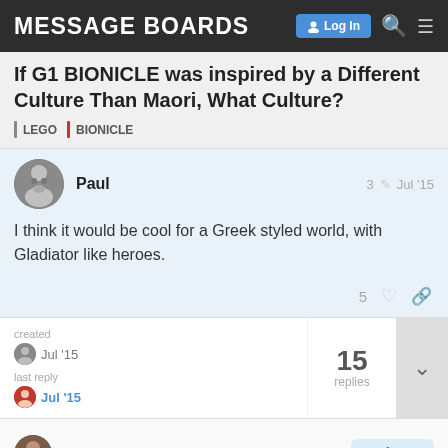MESSAGE BOARDS
If G1 BIONICLE was inspired by a Different Culture Than Maori, What Culture?
LEGO
BIONICLE
Paul  3  Jul '15
I think it would be cool for a Greek styled world, with Gladiator like heroes.
5
created  Jul '15   last reply  Jul '15   15 replies
Hawkflight   3 / 16